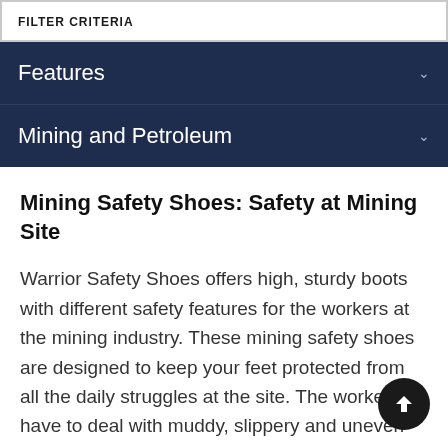FILTER CRITERIA
Features
Mining and Petroleum
Mining Safety Shoes: Safety at Mining Site
Warrior Safety Shoes offers high, sturdy boots with different safety features for the workers at the mining industry. These mining safety shoes are designed to keep your feet protected from all the daily struggles at the site. The workers have to deal with muddy, slippery and uneven base sites every day. In order to